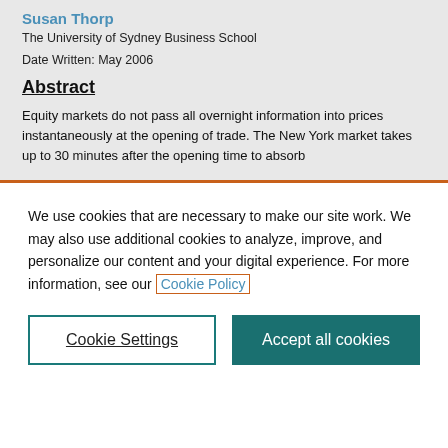Susan Thorp
The University of Sydney Business School
Date Written: May 2006
Abstract
Equity markets do not pass all overnight information into prices instantaneously at the opening of trade. The New York market takes up to 30 minutes after the opening time to absorb overnight foreign news. Tokyo takes about 20 minutes to absorb
We use cookies that are necessary to make our site work. We may also use additional cookies to analyze, improve, and personalize our content and your digital experience. For more information, see our Cookie Policy
Cookie Settings
Accept all cookies